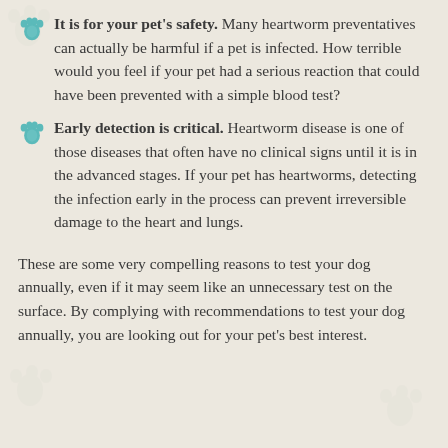It is for your pet's safety. Many heartworm preventatives can actually be harmful if a pet is infected. How terrible would you feel if your pet had a serious reaction that could have been prevented with a simple blood test?
Early detection is critical. Heartworm disease is one of those diseases that often have no clinical signs until it is in the advanced stages. If your pet has heartworms, detecting the infection early in the process can prevent irreversible damage to the heart and lungs.
These are some very compelling reasons to test your dog annually, even if it may seem like an unnecessary test on the surface. By complying with recommendations to test your dog annually, you are looking out for your pet's best interest.